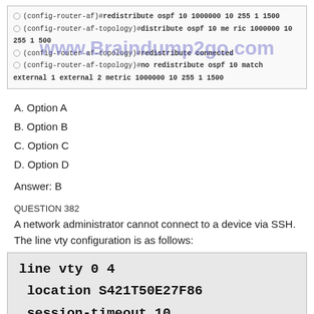[Figure (screenshot): Screenshot of router CLI commands showing redistribute ospf and redistribute connected commands with watermark www.Braindump2go.com overlay]
A. Option A
B. Option B
C. Option C
D. Option D
Answer: B
QUESTION 382
A network administrator cannot connect to a device via SSH. The line vty configuration is as follows:
[Figure (screenshot): Code box showing: line vty 0 4 / location S421T50E27F86 / session-timeout 10]